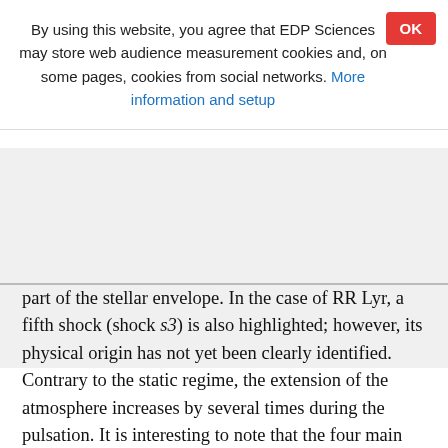By using this website, you agree that EDP Sciences may store web audience measurement cookies and, on some pages, cookies from social networks. More information and setup
OK
part of the stellar envelope. In the case of RR Lyr, a fifth shock (shock s3) is also highlighted; however, its physical origin has not yet been clearly identified. Contrary to the static regime, the extension of the atmosphere increases by several times during the pulsation. It is interesting to note that the four main shocks are stronger than in classical Cepheids, but their general features, especially their physical origin, are qualitatively similar.